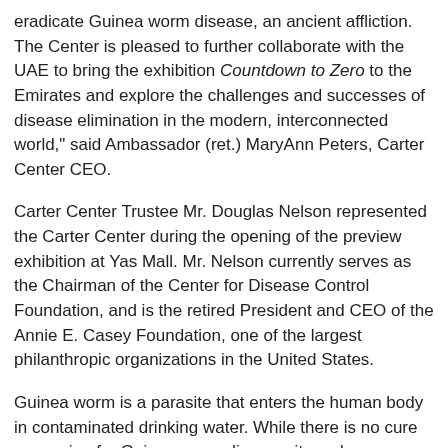eradicate Guinea worm disease, an ancient affliction. The Center is pleased to further collaborate with the UAE to bring the exhibition Countdown to Zero to the Emirates and explore the challenges and successes of disease elimination in the modern, interconnected world," said Ambassador (ret.) MaryAnn Peters, Carter Center CEO.
Carter Center Trustee Mr. Douglas Nelson represented the Carter Center during the opening of the preview exhibition at Yas Mall. Mr. Nelson currently serves as the Chairman of the Center for Disease Control Foundation, and is the retired President and CEO of the Annie E. Casey Foundation, one of the largest philanthropic organizations in the United States.
Guinea worm is a parasite that enters the human body in contaminated drinking water. While there is no cure or vaccine for Guinea worm disease, it can be eradicated through community health education, and low-tech interventions, such as filtering all drinking water via cloth water filters. The Carter Center-led Guinea worm eradication campaign has driven the